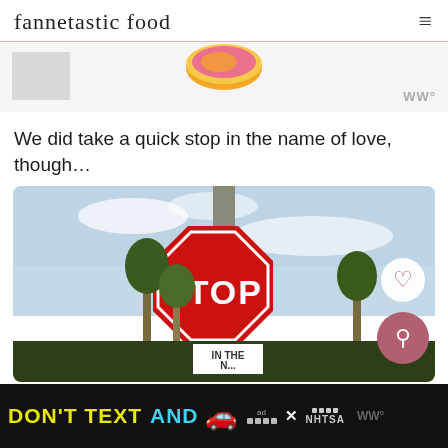fannetastic food
[Figure (photo): Partial view of a donut image with pink and orange icing at top of page, with a gray thumbnail box on the left and a WW logo badge on the right]
We did take a quick stop in the name of love, though…
[Figure (photo): Photo of a red STOP sign on a pole against a blue sky with palm trees. A smaller sign below reads 'IN THE N...' (partially visible). A heart button and search button overlay on the right side.]
[Figure (infographic): Black advertisement banner at the bottom reading DON'T TEXT AND [car emoji] with ad badge, close button, and NHTSA logo]